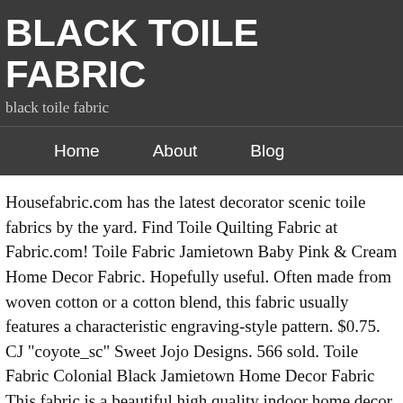BLACK TOILE FABRIC
black toile fabric
Home   About   Blog
Housefabric.com has the latest decorator scenic toile fabrics by the yard. Find Toile Quilting Fabric at Fabric.com! Toile Fabric Jamietown Baby Pink & Cream Home Decor Fabric. Hopefully useful. Often made from woven cotton or a cotton blend, this fabric usually features a characteristic engraving-style pattern. $0.75. CJ "coyote_sc" Sweet Jojo Designs. 566 sold. Toile Fabric Colonial Black Jamietown Home Decor Fabric This fabric is a beautiful high quality indoor home decor fabric featuring a â¦ Print custom fabric, wallpaper, home decor items with Spoonflower â¦ Add to Wish List. Was looking in fabric stores all around NYC for weeks for the perfect and AFFORDABLE black-and-white toile design to make a bedspread. On this great occasion, I would like to share about toile